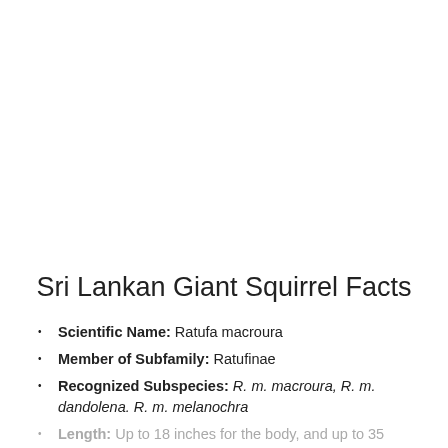Sri Lankan Giant Squirrel Facts
Scientific Name: Ratufa macroura
Member of Subfamily: Ratufinae
Recognized Subspecies: R. m. macroura, R. m. dandolena. R. m. melanochra
Length: Up to 18 inches for the body, and up to 35 inches including the tail